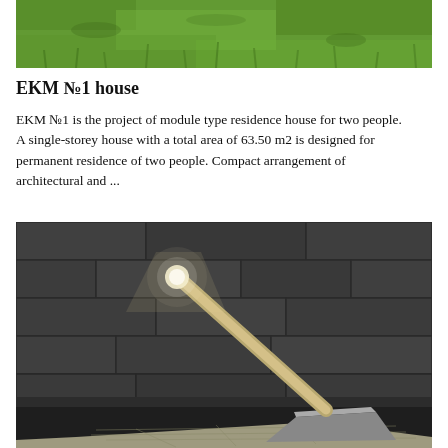[Figure (photo): Photograph of green grass lawn viewed from above.]
EKM №1 house
EKM №1 is the project of module type residence house for two people. A single-storey house with a total area of 63.50 m2 is designed for permanent residence of two people. Compact arrangement of architectural and ...
[Figure (photo): Architectural rendering of a modern minimalist desk lamp with a long diagonal arm and a triangular base, placed on blueprints against a dark stone wall background.]